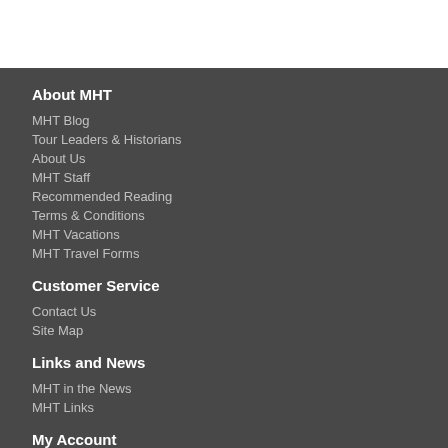About MHT
MHT Blog
Tour Leaders & Historians
About Us
MHT Staff
Recommended Reading
Terms & Conditions
MHT Vacations
MHT Travel Forms
Customer Service
Contact Us
Site Map
Links and News
MHT in the News
MHT Links
My Account